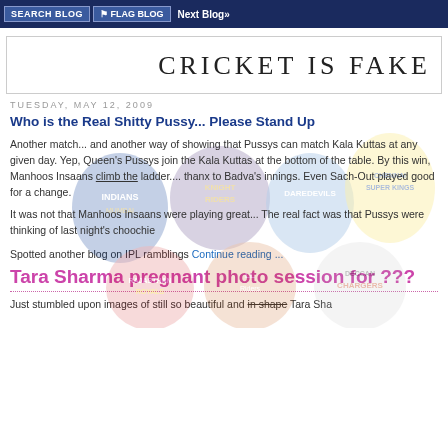SEARCH BLOG  FLAG BLOG  Next Blog»
CRICKET IS FAKE
TUESDAY, MAY 12, 2009
Who is the Real Shitty Pussy... Please Stand Up
Another match... and another way of showing that Pussys can match Kala Kuttas at any given day. Yep, Queen's Pussys join the Kala Kuttas at the bottom of the table. By this win, Manhoos Insaans climb the ladder.... thanx to Badva's innings. Even Sach-Out played good for a change.
[Figure (illustration): IPL team logos overlaid as watermark: Mumbai Indians, Kolkata Knight Riders, Delhi Daredevils, Chennai Super Kings, Rajasthan Royals, Deccan Chargers]
It was not that Manhoos Insaans were playing great... The real fact was that Pussys were thinking of last night's choochie
Spotted another blog on IPL ramblings Continue reading ...
Tara Sharma pregnant photo session for ???
Just stumbled upon images of still so beautiful and in shape Tara Sha